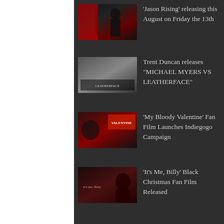[Figure (photo): Thumbnail image for Jason Rising horror film]
'Jason Rising' releasing this August on Friday the 13th
[Figure (photo): Thumbnail image for Michael Myers vs Leatherface film]
Trent Duncan releases "MICHAEL MYERS VS LEATHERFACE"
[Figure (photo): Thumbnail image for My Bloody Valentine fan film]
'My Bloody Valentine' Fan Film Launches Indiegogo Campaign
[Figure (photo): Thumbnail image for It's Me Billy Black Christmas fan film]
'It's Me, Billy' Black Christmas Fan Film Released